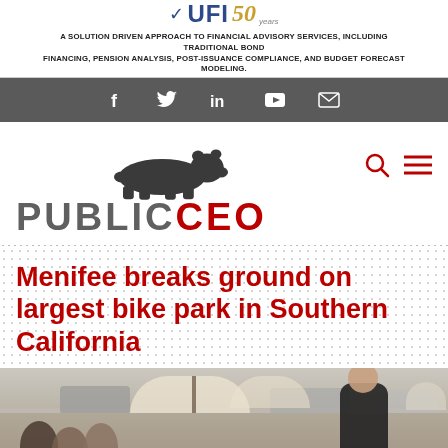[Figure (other): UFI 50 financial advisory services advertisement banner. Logo reads UFI 50. Tagline: A solution driven approach to financial advisory services, including traditional bond financing, pension analysis, post-issuance compliance, and budget forecast modeling.]
[Figure (other): Social media navigation bar with icons for Facebook, Twitter, LinkedIn, YouTube, and Email on a gray background.]
[Figure (logo): PublicCEO website logo featuring a dark gray bear silhouette above the text PUBLIC in gray and CEO in red, with a search icon and hamburger menu icon on the right.]
Menifee breaks ground on largest bike park in Southern California
[Figure (photo): Outdoor groundbreaking event photo showing a man in a black shirt speaking, with attendees seated under umbrellas in the background. Cars and an open field are visible in the background.]